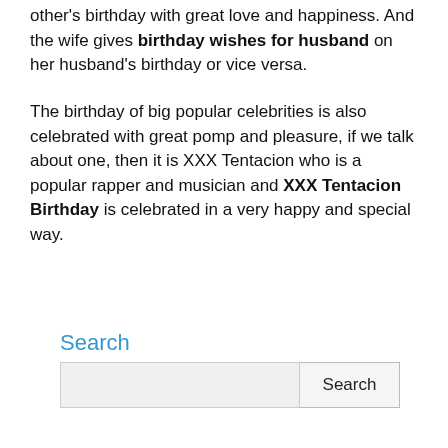other's birthday with great love and happiness. And the wife gives birthday wishes for husband on her husband's birthday or vice versa.
The birthday of big popular celebrities is also celebrated with great pomp and pleasure, if we talk about one, then it is XXX Tentacion who is a popular rapper and musician and XXX Tentacion Birthday is celebrated in a very happy and special way.
Search